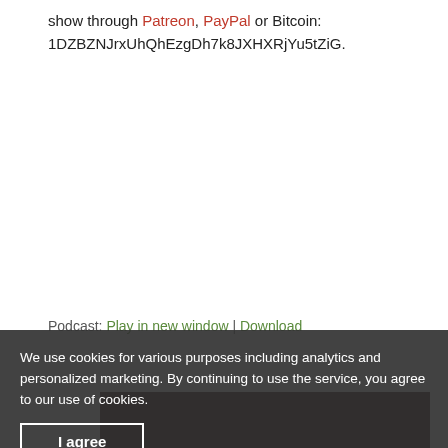show through Patreon, PayPal or Bitcoin: 1DZBZNJrxUhQhEzgDh7k8JXHXRjYu5tZiG.
Podcast: Play in new window | Download
We use cookies for various purposes including analytics and personalized marketing. By continuing to use the service, you agree to our use of cookies.
I agree